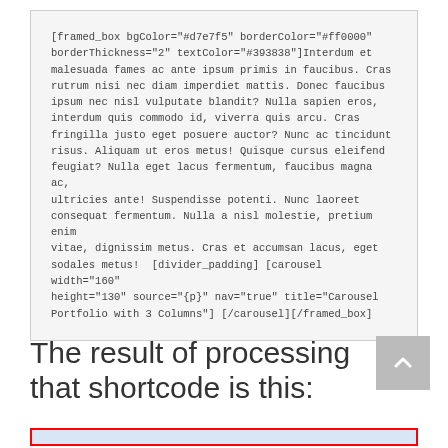[framed_box bgColor="#d7e7f5" borderColor="#ff0000" borderThickness="2" textColor="#393838"]Interdum et malesuada fames ac ante ipsum primis in faucibus. Cras rutrum nisi nec diam imperdiet mattis. Donec faucibus ipsum nec nisl vulputate blandit? Nulla sapien eros, interdum quis commodo id, viverra quis arcu. Cras fringilla justo eget posuere auctor? Nunc ac tincidunt risus. Aliquam ut eros metus! Quisque cursus eleifend feugiat? Nulla eget lacus fermentum, faucibus magna ac, ultricies ante! Suspendisse potenti. Nunc laoreet consequat fermentum. Nulla a nisl molestie, pretium enim vitae, dignissim metus. Cras et accumsan lacus, eget sodales metus!  [divider_padding] [carousel width="160" height="130" source="{p}" nav="true" title="Carousel Portfolio with 3 Columns"] [/carousel][/framed_box]
The result of processing that shortcode is this:
[Figure (screenshot): A partially visible red-bordered box with light blue background, representing the rendered output of the framed_box shortcode.]